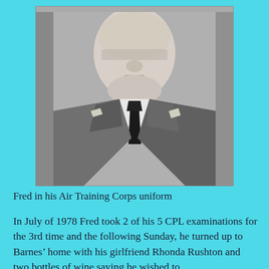[Figure (photo): Black and white portrait photograph of a young man named Fred in Air Training Corps uniform, wearing a dark tie and uniform jacket with insignia on the lapels. The photo shows his face and upper torso against a plain background.]
Fred in his Air Training Corps uniform
In July of 1978 Fred took 2 of his 5 CPL examinations for the 3rd time and the following Sunday, he turned up to Barnes’ home with his girlfriend Rhonda Rushton and two bottles of wine saying he wished to